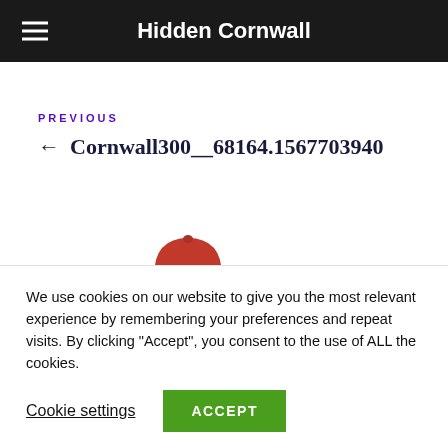Hidden Cornwall
PREVIOUS
← Cornwall300__68164.1567703940
[Figure (illustration): Red dome/cloche icon partially visible at bottom of content area]
We use cookies on our website to give you the most relevant experience by remembering your preferences and repeat visits. By clicking "Accept", you consent to the use of ALL the cookies.
Cookie settings   ACCEPT